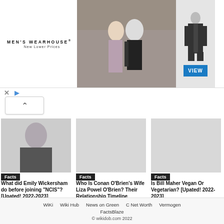[Figure (screenshot): Men's Wearhouse advertisement banner showing a couple in formal wear, a man in a suit on the right, with 'VIEW' button]
[Figure (photo): Article thumbnail showing Emily Wickersham]
Facts
What did Emily Wickersham do before joining “NCIS”? [Upated! 2022-2023]
[Figure (photo): Article thumbnail for Conan O'Brien article]
Facts
Who Is Conan O’Brien’s Wife Liza Powel O’Brien? Their Relationship Timeline [Upated! 2022-2023]
[Figure (photo): Article thumbnail for Bill Maher article]
Facts
Is Bill Maher Vegan Or Vegetarian? [Upated! 2022-2023]
WiKi   Wiki Hub   News on Green   C Net Worth   Vermogen
FactsBlaze
© wikidob.com 2022